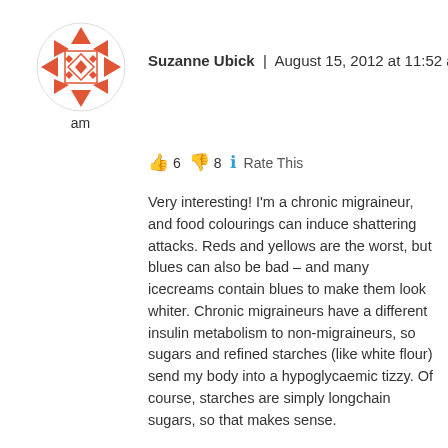[Figure (illustration): Red/orange geometric decorative avatar icon with diamond and triangle pattern inside a circle]
am
Suzanne Ubick | August 15, 2012 at 11:52 am
👍 6 👎 8 ℹ Rate This
Very interesting! I'm a chronic migraineur, and food colourings can induce shattering attacks. Reds and yellows are the worst, but blues can also be bad – and many icecreams contain blues to make them look whiter. Chronic migraineurs have a different insulin metabolism to non-migraineurs, so sugars and refined starches (like white flour) send my body into a hypoglycaemic tizzy. Of course, starches are simply longchain sugars, so that makes sense.
When my children were young, I could tell immediately if their father had given them soda or crisps. My son would often get a migraine and my daughter would have tantrums, which a chunk of cheese would usually resolve.